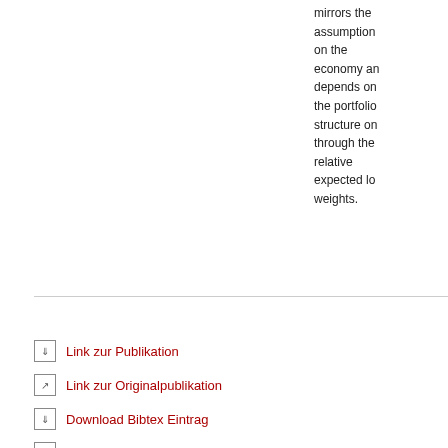mirrors the assumption on the economy and depends on the portfolio structure on through the relative expected lo weights.
Link zur Publikation
Link zur Originalpublikation
Download Bibtex Eintrag
Zurück
Zuletzt aktualisiert: 03.03.
Seite drucken | Phi Reichenb
Kontakt   Impressum   Site   English   Inde   Z   Mobil   Datenschutz